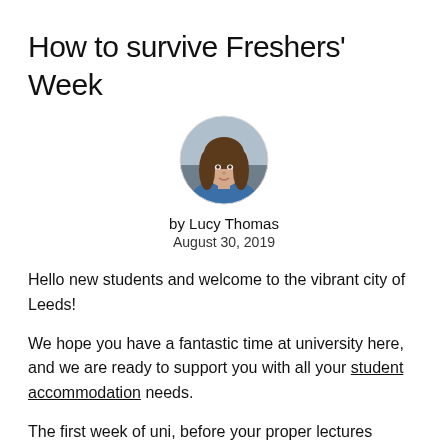How to survive Freshers' Week
[Figure (photo): Circular portrait photo of Lucy Thomas, a woman with long curly brown hair wearing a blue top, set against a blurred outdoor background.]
by Lucy Thomas
August 30, 2019
Hello new students and welcome to the vibrant city of Leeds!
We hope you have a fantastic time at university here, and we are ready to support you with all your student accommodation needs.
The first week of uni, before your proper lectures